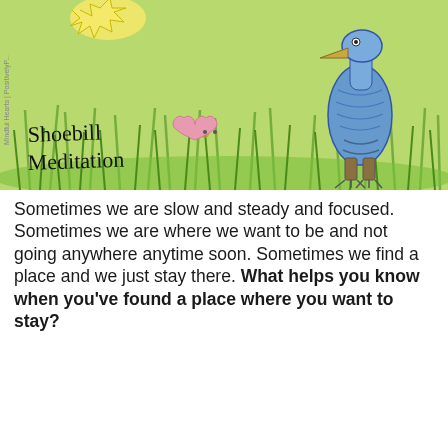[Figure (illustration): Children's illustration on a light green background showing a large blue shoebill bird standing in tall green grass, a pink heart character with small dots for eyes, a yellow sun in the top left, and handwritten text reading 'Shoebill Meditation'. A vertical watermark on the left edge reads 'Mindful Hearts | PositivelyP...']
Sometimes we are slow and steady and focused. Sometimes we are where we want to be and not going anywhere anytime soon. Sometimes we find a place and we just stay there. What helps you know when you've found a place where you want to stay?